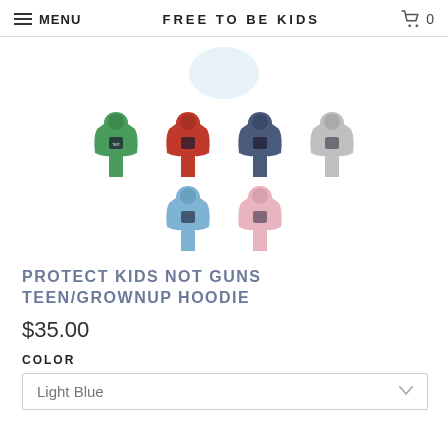MENU  FREE TO BE KIDS  🛒 0
[Figure (photo): Six hoodie product thumbnails in green, red, dark blue, gray (top row), light blue, and pink (bottom row) showing Protect Kids Not Guns hoodies]
PROTECT KIDS NOT GUNS TEEN/GROWNUP HOODIE
$35.00
COLOR
Light Blue